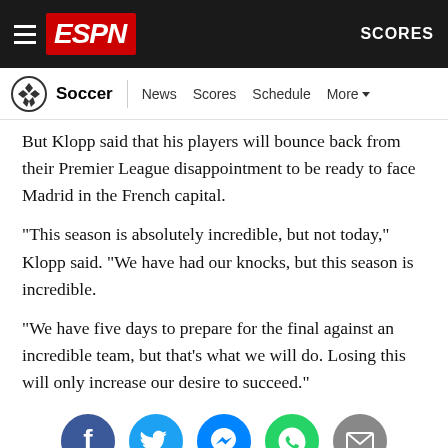ESPN - Soccer | News Scores Schedule More | SCORES
But Klopp said that his players will bounce back from their Premier League disappointment to be ready to face Madrid in the French capital.
"This season is absolutely incredible, but not today," Klopp said. "We have had our knocks, but this season is incredible.
"We have five days to prepare for the final against an incredible team, but that's what we will do. Losing this will only increase our desire to succeed."
[Figure (infographic): Social sharing buttons: Facebook, Twitter, Messenger, WhatsApp, Email]